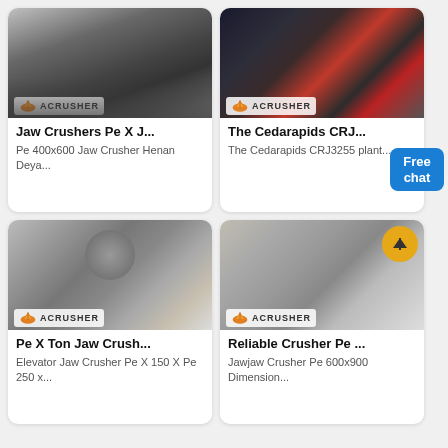[Figure (photo): Industrial jaw crusher machine, dark gray/silver, with ACRUSHER branding]
Jaw Crushers Pe X J...
Pe 400x600 Jaw Crusher Henan Deya...
[Figure (photo): Cedarapids cone crusher, dark with red accents, in warehouse, ACRUSHER branding]
The Cedarapids CRJ...
The Cedarapids CRJ3255 plant...
[Figure (photo): Large cone crusher machine in factory, gray, ACRUSHER branding]
Pe X Ton Jaw Crush...
Elevator Jaw Crusher Pe X 150 X Pe 250 x...
[Figure (photo): Reliable cone crusher, gray, factory floor, ACRUSHER branding, orange scroll icon]
Reliable Crusher Pe ...
Jawjaw Crusher Pe 600x900 Dimension...